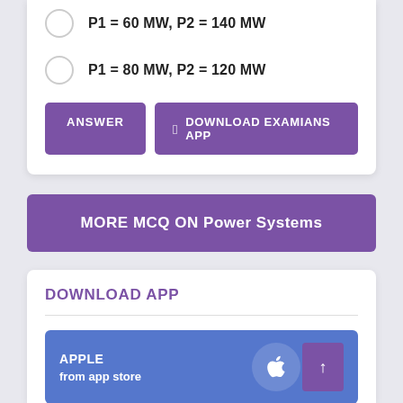P1 = 60 MW, P2 = 140 MW
P1 = 80 MW, P2 = 120 MW
ANSWER
DOWNLOAD EXAMIANS APP
MORE MCQ ON Power Systems
DOWNLOAD APP
APPLE
from app store